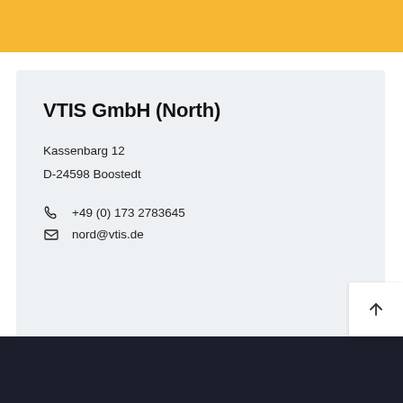[Figure (other): Yellow banner at the top of the page, partial logo visible]
VTIS GmbH (North)
Kassenbarg 12
D-24598 Boostedt
+49 (0) 173 2783645
nord@vtis.de
[Figure (other): Dark footer bar with back-to-top arrow button]